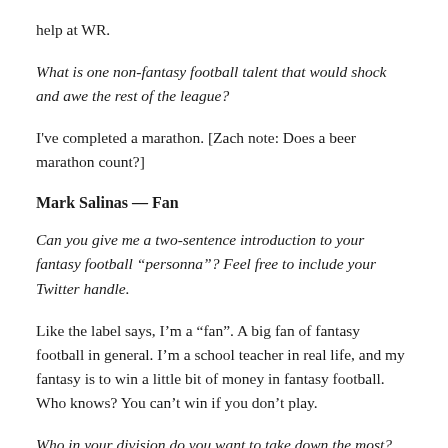help at WR.
What is one non-fantasy football talent that would shock and awe the rest of the league?
I've completed a marathon. [Zach note: Does a beer marathon count?]
Mark Salinas — Fan
Can you give me a two-sentence introduction to your fantasy football “personna”? Feel free to include your Twitter handle.
Like the label says, I’m a “fan”. A big fan of fantasy football in general. I’m a school teacher in real life, and my fantasy is to win a little bit of money in fantasy football. Who knows? You can’t win if you don’t play.
Who in your division do you want to take down the most?